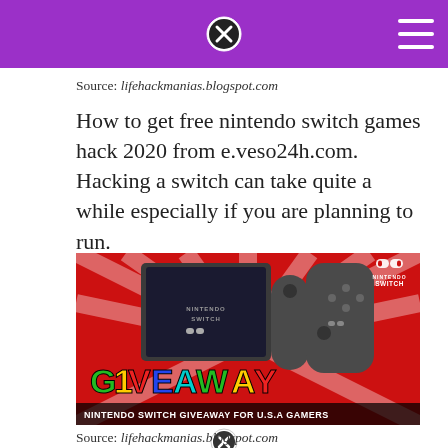Source: lifehackmanias.blogspot.com
How to get free nintendo switch games hack 2020 from e.veso24h.com. Hacking a switch can take quite a while especially if you are planning to run.
[Figure (photo): Nintendo Switch Giveaway promotional image on red background with console, controllers, colorful GIVEAWAY text, and banner reading NINTENDO SWITCH GIVEAWAY FOR U.S.A GAMERS]
Source: lifehackmanias.blogspot.com